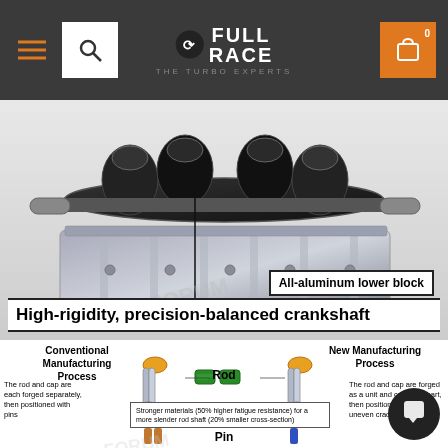[Figure (screenshot): Full Race website header with hamburger menu, search icon, Full Race logo, and shopping cart with badge showing 0]
[Figure (engineering-diagram): 3D rendering of a high-rigidity precision-balanced crankshaft placed on an all-aluminum lower engine block, with labeled annotations pointing to the crankshaft and lower block]
All-aluminum lower block
High-rigidity, precision-balanced crankshaft
[Figure (engineering-diagram): Infographic comparing Conventional Manufacturing Process vs New Manufacturing Process for connecting rods, showing rod and cap forging methods, with annotations about stronger materials (50% higher fatigue resistance) and a more slender rod shaft (20% smaller cross-section), and pin detail at the bottom]
Conventional Manufacturing Process
New Manufacturing Process
Rod
The rod and cap are each forged separately, then positioned with pins
Stronger materials (50% higher fatigue resistance) for a more slender rod shaft (20% smaller cross-section)
The rod and cap are forged as a unit and cracked apart, then positioned using the uneven cracked surface.
Pin